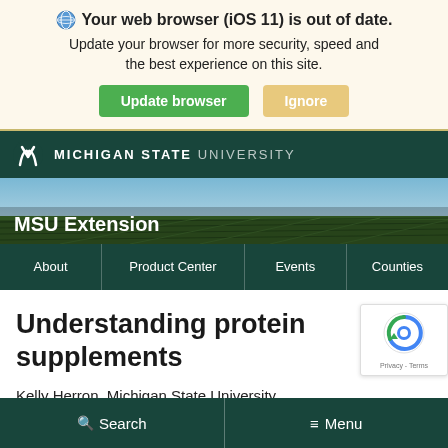Your web browser (iOS 11) is out of date. Update your browser for more security, speed and the best experience on this site.
[Figure (screenshot): Browser update banner with 'Update browser' green button and 'Ignore' tan button]
[Figure (logo): Michigan State University logo and wordmark in white on dark green background]
[Figure (photo): MSU Extension banner with farm field background and 'MSU Extension' title text]
About | Product Center | Events | Counties
Understanding protein supplements
Kelly Herron, Michigan State University
Search   Menu